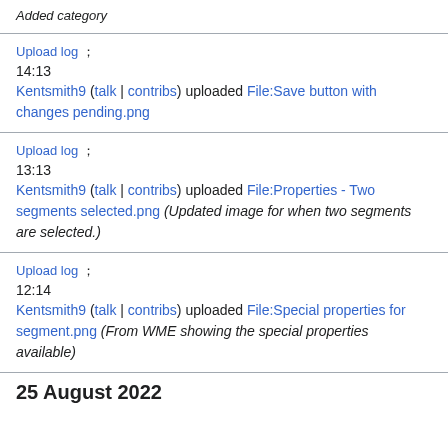Added category
Upload log  ；
14:13
Kentsmith9 (talk | contribs) uploaded File:Save button with changes pending.png
Upload log  ；
13:13
Kentsmith9 (talk | contribs) uploaded File:Properties - Two segments selected.png (Updated image for when two segments are selected.)
Upload log  ；
12:14
Kentsmith9 (talk | contribs) uploaded File:Special properties for segment.png (From WME showing the special properties available)
25 August 2022